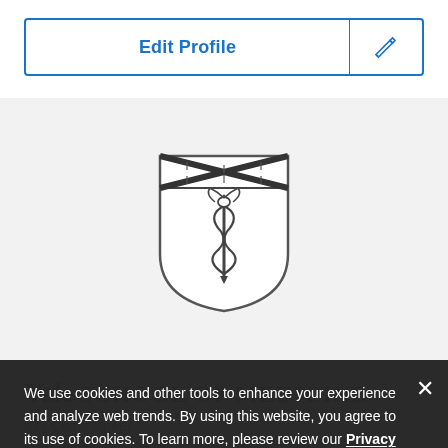Edit Profile
[Figure (logo): Yale School of Medicine shield crest logo — a heraldic shield with an X cross saltire on the upper portion and a caduceus/rod of Asclepius in the lower portion, rendered in dark ink on light background.]
Yale School of Medicine
333 Cedar Street
New Haven, CT 06510
We use cookies and other tools to enhance your experience and analyze web trends. By using this website, you agree to its use of cookies. To learn more, please review our Privacy Policy.